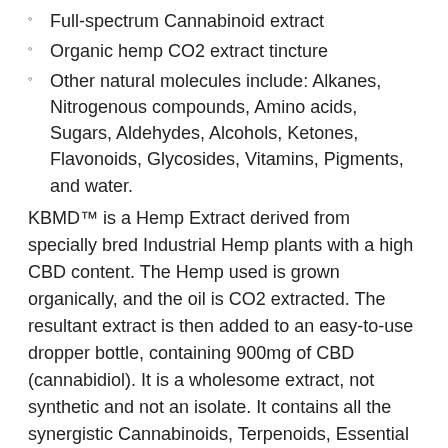Full-spectrum Cannabinoid extract
Organic hemp CO2 extract tincture
Other natural molecules include: Alkanes, Nitrogenous compounds, Amino acids, Sugars, Aldehydes, Alcohols, Ketones, Flavonoids, Glycosides, Vitamins, Pigments, and water.
KBMD™ is a Hemp Extract derived from specially bred Industrial Hemp plants with a high CBD content. The Hemp used is grown organically, and the oil is CO2 extracted. The resultant extract is then added to an easy-to-use dropper bottle, containing 900mg of CBD (cannabidiol). It is a wholesome extract, not synthetic and not an isolate. It contains all the synergistic Cannabinoids, Terpenoids, Essential Oils and other compounds of the original plant. A 30ml tincture of KBMD™ contains 900mg of cannabidiol